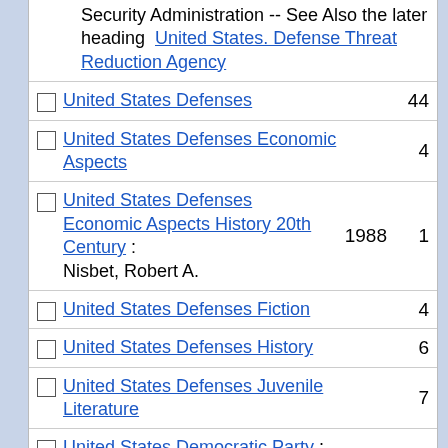Security Administration -- See Also the later heading United States. Defense Threat Reduction Agency
United States Defenses  44
United States Defenses Economic Aspects  4
United States Defenses Economic Aspects History 20th Century : Nisbet, Robert A.  1988  1
United States Defenses Fiction  4
United States Defenses History  6
United States Defenses Juvenile Literature  7
United States Democratic Party : Aldrich, Gary.  2003  1
United States Departament Iustytsii Ssha -- See United States. Department of Justice  1
United States Departament Kommersii Ssha -- See United States. Department of Commerce  1